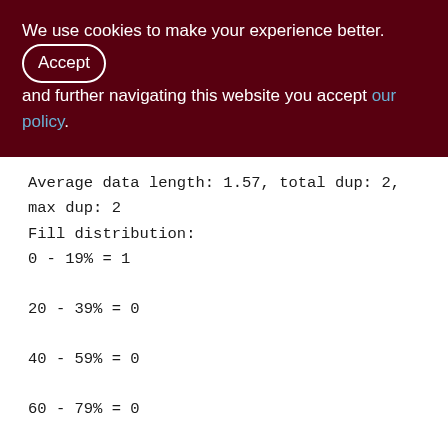We use cookies to make your experience better. By accepting and further navigating this website you accept our policy.
Average data length: 1.57, total dup: 2, max dup: 2
Fill distribution:
0 - 19% = 1
20 - 39% = 0
40 - 59% = 0
60 - 79% = 0
80 - 99% = 0
Index RULES_FOR_QDISTR_UNQ (0)
Depth: 1, leaf buckets: 1, nodes: 7
Average data length: 6.14, total dup: 0,